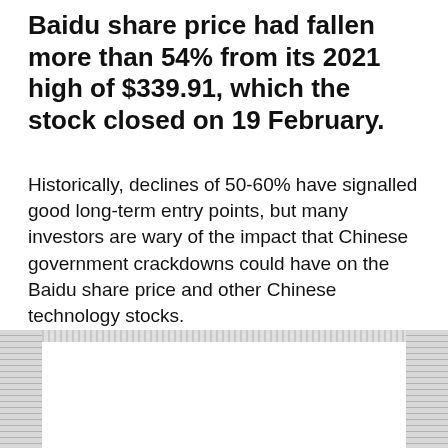Baidu share price had fallen more than 54% from its 2021 high of $339.91, which the stock closed on 19 February.
Historically, declines of 50-60% have signalled good long-term entry points, but many investors are wary of the impact that Chinese government crackdowns could have on the Baidu share price and other Chinese technology stocks.
[Figure (other): Paywall call-to-action box with hatched background, email input field reading 'Enter your email address', and a coral/salmon 'Get free access' button. Heading reads 'Continue reading for FREE'.]